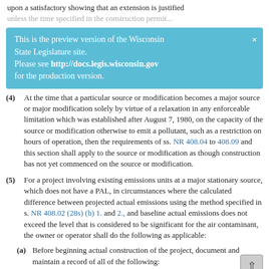upon a satisfactory showing that an extension is justified unless the time specified in the construction permit...
This is the preview version of the Wisconsin State Legislature site. Please see http://docs.legis.wisconsin.gov for the production version.
(4) At the time that a particular source or modification becomes a major source or major modification solely by virtue of a relaxation in any enforceable limitation which was established after August 7, 1980, on the capacity of the source or modification otherwise to emit a pollutant, such as a restriction on hours of operation, then the requirements of ss. NR 408.04 to 408.09 and this section shall apply to the source or modification as though construction has not yet commenced on the source or modification.
(5) For a project involving existing emissions units at a major stationary source, which does not have a PAL, in circumstances where the calculated difference between projected actual emissions using the method specified in s. NR 408.02 (28s) (b) 1. and 2., and baseline actual emissions does not exceed the level that is considered to be significant for the air contaminant, the owner or operator shall do the following as applicable:
(a) Before beginning actual construction of the project, document and maintain a record of all of the following:
1. A description of the project...